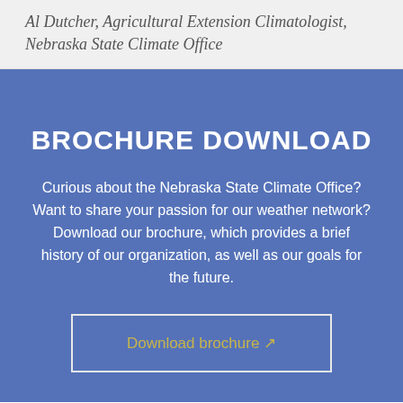Al Dutcher, Agricultural Extension Climatologist, Nebraska State Climate Office
BROCHURE DOWNLOAD
Curious about the Nebraska State Climate Office? Want to share your passion for our weather network? Download our brochure, which provides a brief history of our organization, as well as our goals for the future.
Download brochure →
REQUEST A SPEAKER